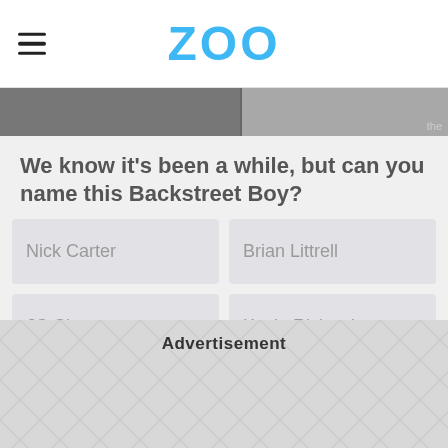ZOO
[Figure (photo): Hero image strip showing a partially visible person, dark grey background]
We know it's been a while, but can you name this Backstreet Boy?
Nick Carter
Brian Littrell
JC Chasez
Kevin Richardson
Advertisement